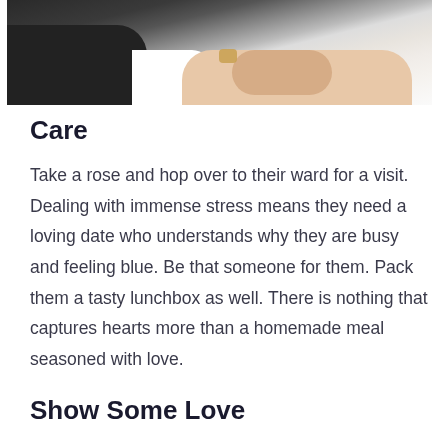[Figure (photo): Two people sitting together with hands intertwined, one wearing dark clothing and one wearing white, visible from shoulders/arms down. Medical or caregiving context suggested.]
Care
Take a rose and hop over to their ward for a visit. Dealing with immense stress means they need a loving date who understands why they are busy and feeling blue. Be that someone for them. Pack them a tasty lunchbox as well. There is nothing that captures hearts more than a homemade meal seasoned with love.
Show Some Love